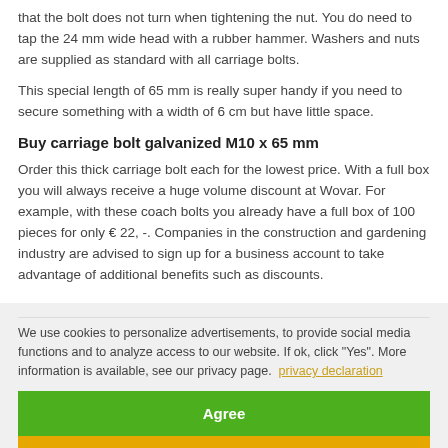that the bolt does not turn when tightening the nut. You do need to tap the 24 mm wide head with a rubber hammer. Washers and nuts are supplied as standard with all carriage bolts.
This special length of 65 mm is really super handy if you need to secure something with a width of 6 cm but have little space.
Buy carriage bolt galvanized M10 x 65 mm
Order this thick carriage bolt each for the lowest price. With a full box you will always receive a huge volume discount at Wovar. For example, with these coach bolts you already have a full box of 100 pieces for only € 22, -. Companies in the construction and gardening industry are advised to sign up for a business account to take advantage of additional benefits such as discounts.
We use cookies to personalize advertisements, to provide social media functions and to analyze access to our website. If ok, click "Yes". More information is available, see our privacy page.  privacy declaration
Agree